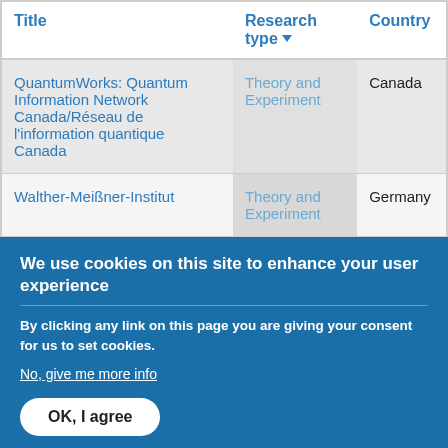| Title | Research type | Country |
| --- | --- | --- |
| QuantumWorks: Quantum Information Network Canada/Réseau de l'information quantique Canada | Theory and Experiment | Canada |
| Walther-Meißner-Institut | Theory and Experiment | Germany |
We use cookies on this site to enhance your user experience
By clicking any link on this page you are giving your consent for us to set cookies.
No, give me more info
OK, I agree